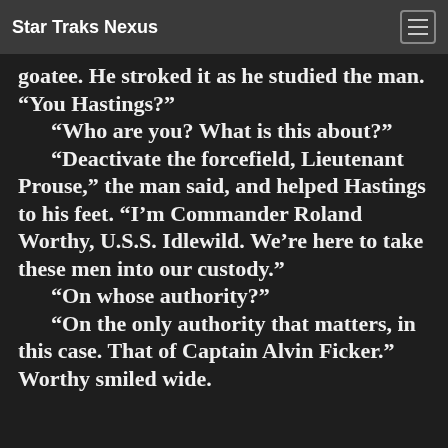Star Traks Nexus
goatee. He stroked it as he studied the man. “You Hastings?”
“Who are you? What is this about?”
“Deactivate the forcefield, Lieutenant Prouse,” the man said, and helped Hastings to his feet. “I’m Commander Roland Worthy, U.S.S. Idlewild. We’re here to take these men into our custody.”
“On whose authority?”
“On the only authority that matters, in this case. That of Captain Alvin Ficker.” Worthy smiled wide.